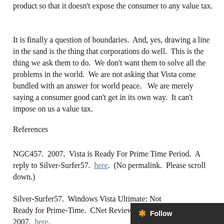product so that it doesn't expose the consumer to any value tax.
It is finally a question of boundaries.  And, yes, drawing a line in the sand is the thing that corporations do well.  This is the thing we ask them to do.  We don't want them to solve all the problems in the world.  We are not asking that Vista come bundled with an answer for world peace.   We are merely saying a consumer good can't get in its own way.  It can't impose on us a value tax.
References
NGC457.  2007.  Vista is Ready For Prime Time Period.  A reply to Silver-Surfer57.  here.  (No permalink.  Please scroll down.)
Silver-Surfer57.  Windows Vista Ultimate: Not Ready for Prime-Time.  CNet Reviews.  January 25, 2007.  here.